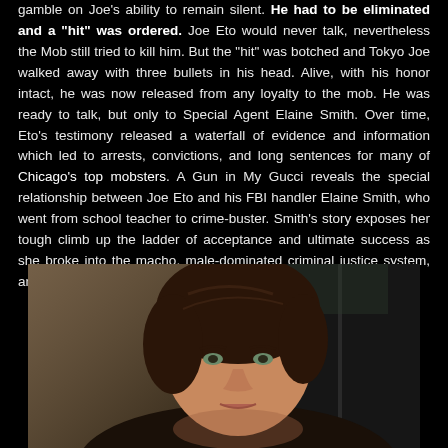gamble on Joe's ability to remain silent. He had to be eliminated and a "hit" was ordered. Joe Eto would never talk, nevertheless the Mob still tried to kill him. But the "hit" was botched and Tokyo Joe walked away with three bullets in his head. Alive, with his honor intact, he was now released from any loyalty to the mob. He was ready to talk, but only to Special Agent Elaine Smith. Over time, Eto's testimony released a waterfall of evidence and information which led to arrests, convictions, and long sentences for many of Chicago's top mobsters. A Gun in My Gucci reveals the special relationship between Joe Eto and his FBI handler Elaine Smith, who went from school teacher to crime-buster. Smith's story exposes her tough climb up the ladder of acceptance and ultimate success as she broke into the macho, male-dominated criminal justice system, and helped take down the Chicago Outfit.
[Figure (photo): A woman with short brown hair photographed from the shoulders up, against a dark background with a door/wall visible behind her.]